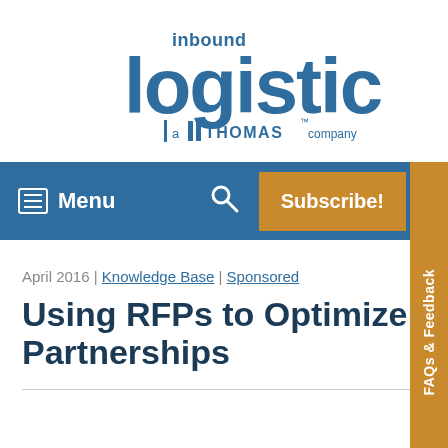[Figure (logo): Inbound Logistics logo — 'inbound logistics a Thomas company' in blue]
Menu | Search | Subscribe! | FAQs & Feedback
April 2016 | Knowledge Base | Sponsored
Using RFPs to Optimize Partnerships